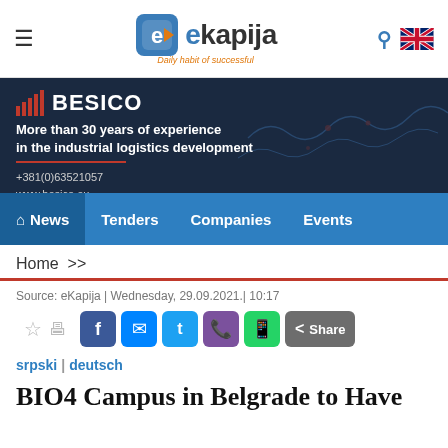ekapija - Daily habit of successful
[Figure (logo): eKapija logo with icon and tagline 'Daily habit of successful']
[Figure (infographic): BESICO banner - More than 30 years of experience in the industrial logistics development. +381(0)63521057. www.besico.eu]
News | Tenders | Companies | Events
Home >>
Source: eKapija | Wednesday, 29.09.2021.| 10:17
srpski | deutsch
BIO4 Campus in Belgrade to Have